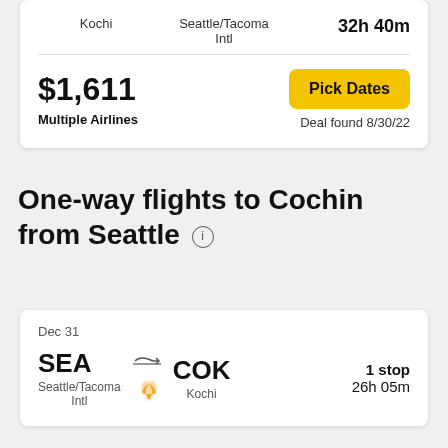Kochi | Seattle/Tacoma Intl | 32h 40m
$1,611
Multiple Airlines
Pick Dates
Deal found 8/30/22
One-way flights to Cochin from Seattle
Dec 31
SEA → COK
Seattle/Tacoma Intl | Kochi
1 stop
26h 05m